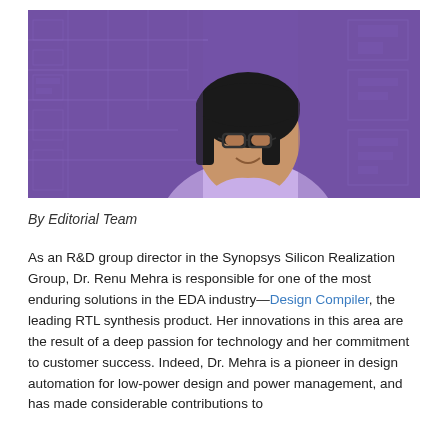[Figure (photo): Photo of Dr. Renu Mehra, a woman with short dark hair and glasses, smiling, wearing a light lavender blazer, against a purple-tinted background of circuit board or chip layout imagery.]
By Editorial Team
As an R&D group director in the Synopsys Silicon Realization Group, Dr. Renu Mehra is responsible for one of the most enduring solutions in the EDA industry—Design Compiler, the leading RTL synthesis product. Her innovations in this area are the result of a deep passion for technology and her commitment to customer success. Indeed, Dr. Mehra is a pioneer in design automation for low-power design and power management, and has made considerable contributions to